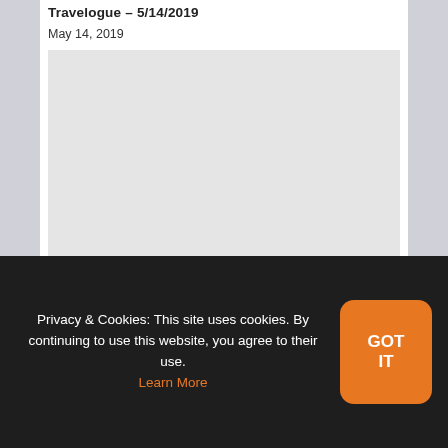Travelogue – 5/14/2019
May 14, 2019
[Figure (photo): Gray placeholder image for a blog post photo]
The Skye's The Limit: A Final Fantasy XIV Travelogue — 5/05/2019
Privacy & Cookies: This site uses cookies. By continuing to use this website, you agree to their use. Learn More